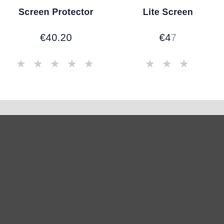Screen Protector
€40.20
★ ★ ★ ★ ★
Lite Screen
€47
★ ★ ★
We use cookies (and other similar technologies) to collect data to improve your shopping experience. By using our website, you're agreeing to the collection of data as described in our Privacy Policy.
Settings
Reject all
Accept All Cookies